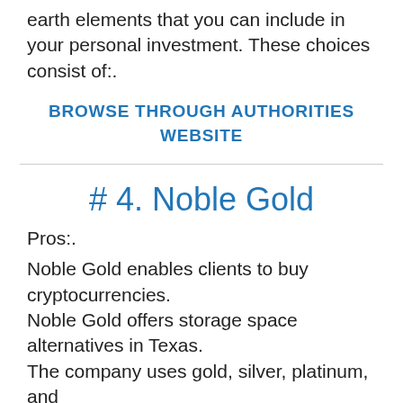earth elements that you can include in your personal investment. These choices consist of:.
BROWSE THROUGH AUTHORITIES WEBSITE
# 4. Noble Gold
Pros:.
Noble Gold enables clients to buy cryptocurrencies.
Noble Gold offers storage space alternatives in Texas.
The company uses gold, silver, platinum, and